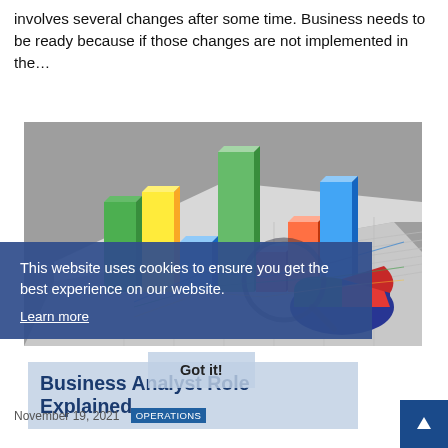involves several changes after some time. Business needs to be ready because if those changes are not implemented in the…
[Figure (illustration): 3D bar chart and pie chart illustration on a gray background, showing colorful bars (green, yellow, blue, red, orange) and pie slices (dark blue, dark teal, red) on a flat surface with grid lines, with a magnifying glass overlay.]
This website uses cookies to ensure you get the best experience on our website. Learn more
Got it!
Business Analyst Role Explained
November 19, 2021
OPERATIONS